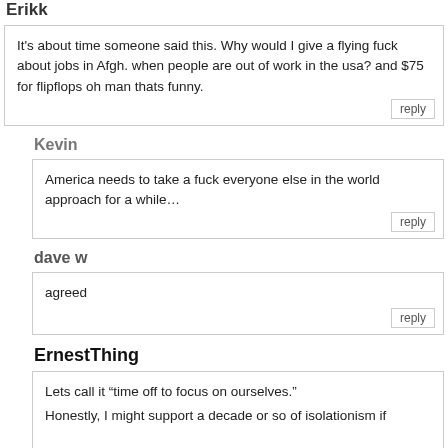Erikk
It's about time someone said this. Why would I give a flying fuck about jobs in Afgh. when people are out of work in the usa? and $75 for flipflops oh man thats funny.
Kevin
America needs to take a fuck everyone else in the world approach for a while…
dave w
agreed
ErnestThing
Lets call it “time off to focus on ourselves.”

Honestly, I might support a decade or so of isolationism if